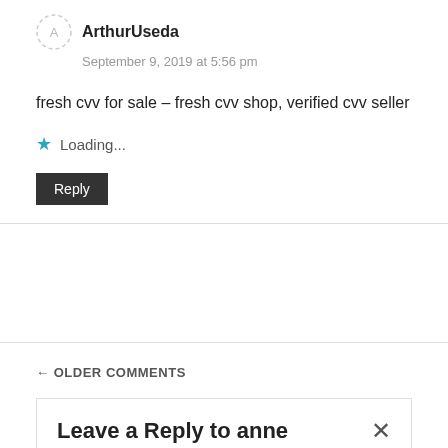ArthurUseda
September 9, 2019 at 5:56 pm
fresh cvv for sale – fresh cvv shop, verified cvv seller
Loading...
Reply
← OLDER COMMENTS
Leave a Reply to anne ×